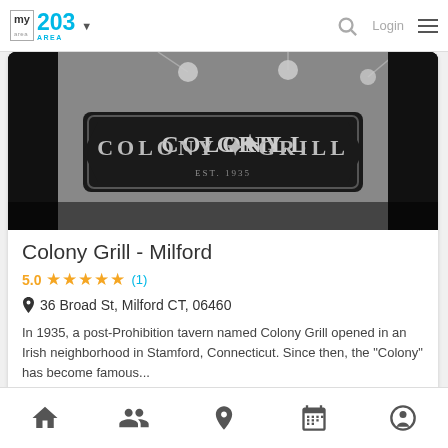my area network | 203 AREA | Login
[Figure (photo): Black and white photo of Colony Grill restaurant signage on a brick wall with lights visible above]
Colony Grill - Milford
5.0 ★★★★★ (1)
36 Broad St, Milford CT, 06460
In 1935, a post-Prohibition tavern named Colony Grill opened in an Irish neighborhood in Stamford, Connecticut. Since then, the "Colony" has become famous...
Milford
Home | Groups | Location | Calendar | Profile